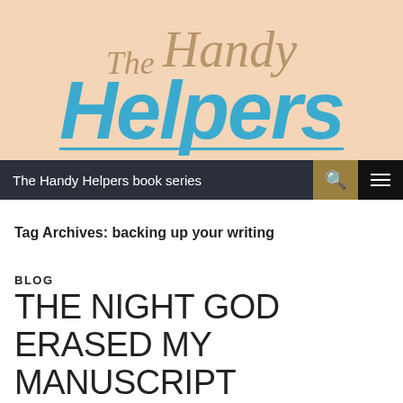[Figure (logo): The Handy Helpers book series logo on a peach/salmon background. 'The' and 'Handy' are in italic tan/brown serif font, 'Helpers' is in large bold italic blue sans-serif font with a blue underline.]
The Handy Helpers book series
Tag Archives: backing up your writing
BLOG
THE NIGHT GOD ERASED MY MANUSCRIPT